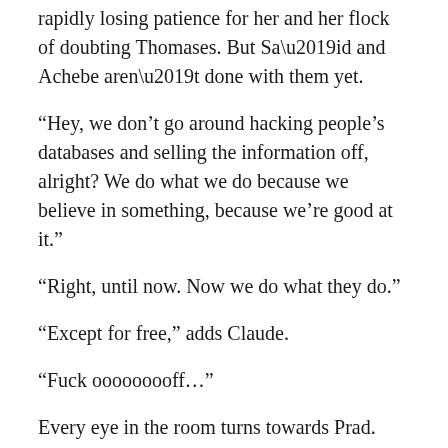rapidly losing patience for her and her flock of doubting Thomases. But Sa’id and Achebe aren’t done with them yet.
“Hey, we don’t go around hacking people’s databases and selling the information off, alright? We do what we do because we believe in something, because we’re good at it.”
“Right, until now. Now we do what they do.”
“Except for free,” adds Claude.
“Fuck ooooooooff…”
Every eye in the room turns towards Prad. He’s a little surprised himself that the words came from his own mouth, but they’re out now and he can’t exactly put them back in. It’s like breathing wet